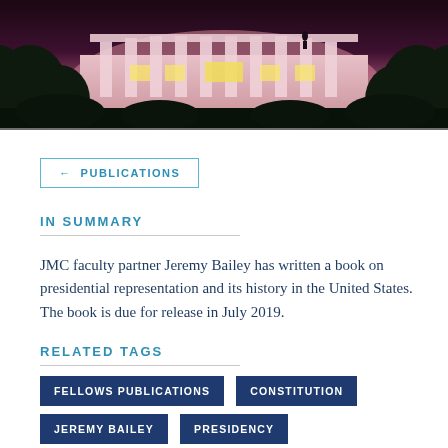[Figure (photo): Photograph of the White House at dusk/night with pink/purple lighting, columns visible, trees in foreground]
← PUBLICATIONS
IN SUMMARY
JMC faculty partner Jeremy Bailey has written a book on presidential representation and its history in the United States. The book is due for release in July 2019.
RELATED TAGS
FELLOWS PUBLICATIONS
CONSTITUTION
JEREMY BAILEY
PRESIDENCY
CONSTITUTIONALISM